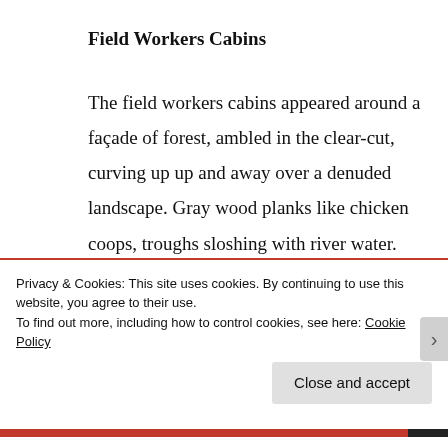Field Workers Cabins
The field workers cabins appeared around a façade of forest, ambled in the clear-cut, curving up up and away over a denuded landscape. Gray wood planks like chicken coops, troughs sloshing with river water. Maybe there had been a fire. Only two
Privacy & Cookies: This site uses cookies. By continuing to use this website, you agree to their use.
To find out more, including how to control cookies, see here: Cookie Policy

Close and accept